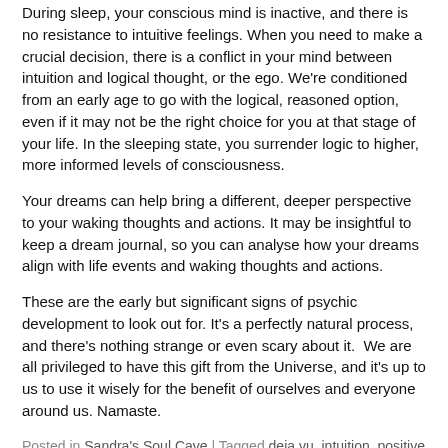During sleep, your conscious mind is inactive, and there is no resistance to intuitive feelings. When you need to make a crucial decision, there is a conflict in your mind between intuition and logical thought, or the ego. We're conditioned from an early age to go with the logical, reasoned option, even if it may not be the right choice for you at that stage of your life. In the sleeping state, you surrender logic to higher, more informed levels of consciousness.
Your dreams can help bring a different, deeper perspective to your waking thoughts and actions. It may be insightful to keep a dream journal, so you can analyse how your dreams align with life events and waking thoughts and actions.
These are the early but significant signs of psychic development to look out for. It's a perfectly natural process, and there's nothing strange or even scary about it.  We are all privileged to have this gift from the Universe, and it's up to us to use it wisely for the benefit of ourselves and everyone around us. Namaste.
Posted in Sandra's Soul Cave | Tagged deja vu, intuition, positive attitude, psychic ability
How to get the best guidance from psychics and mediums
Published 1st February 2020 | By Sandra Piddock
[Figure (photo): Photo of two women with green leafy background]